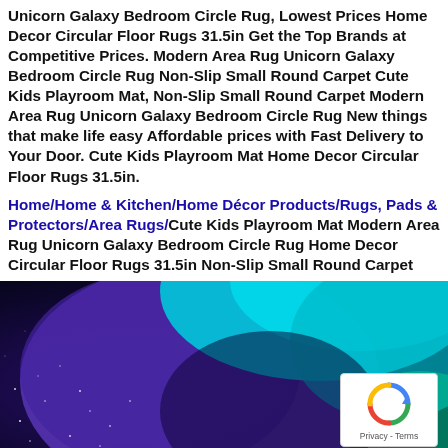Unicorn Galaxy Bedroom Circle Rug, Lowest Prices Home Decor Circular Floor Rugs 31.5in Get the Top Brands at Competitive Prices. Modern Area Rug Unicorn Galaxy Bedroom Circle Rug Non-Slip Small Round Carpet Cute Kids Playroom Mat, Non-Slip Small Round Carpet Modern Area Rug Unicorn Galaxy Bedroom Circle Rug New things that make life easy Affordable prices with Fast Delivery to Your Door. Cute Kids Playroom Mat Home Decor Circular Floor Rugs 31.5in.
Home/Home & Kitchen/Home Décor Products/Rugs, Pads & Protectors/Area Rugs/Cute Kids Playroom Mat Modern Area Rug Unicorn Galaxy Bedroom Circle Rug Home Decor Circular Floor Rugs 31.5in Non-Slip Small Round Carpet
[Figure (photo): A close-up photo of a round rug with a galaxy/unicorn theme featuring purple, teal, and blue cosmic swirling colors with stars, partially visible. A reCAPTCHA badge is overlaid in the bottom right corner.]